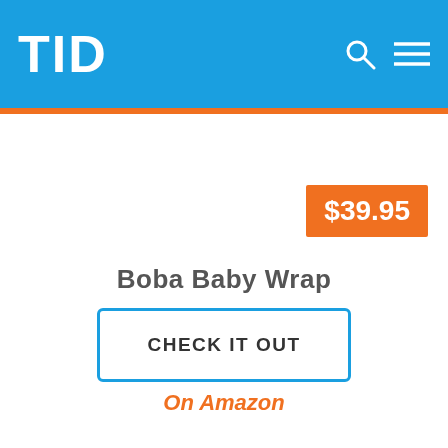TID
[Figure (logo): Price badge showing $39.95 in white text on orange background]
Boba Baby Wrap
CHECK IT OUT
On Amazon